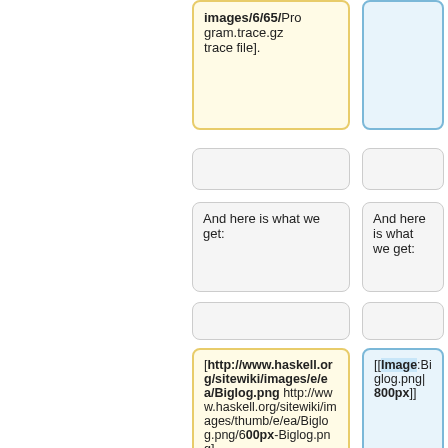images/6/65/Program.trace.gz trace file].
And here is what we get:
And here is what we get:
[http://www.haskell.org/sitewiki/images/e/ea/Biglog.png http://www.haskell.org/sitewiki/images/thumb/e/ea/Biglog.png/600px-Biglog.png]
[[Image:Biglog.png|800px]]
We can make the following
We can make the following